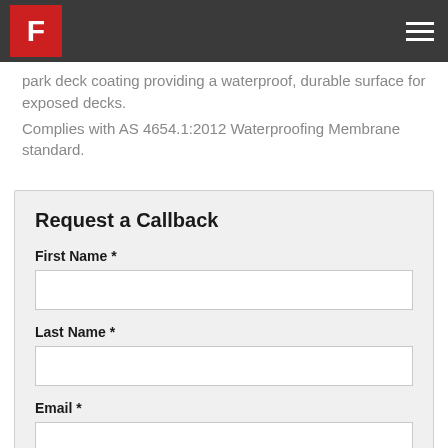F
park deck coating providing a waterproof, durable surface for exposed decks.
Complies with AS 4654.1:2012 Waterproofing Membrane standard.
Request a Callback
First Name *
Last Name *
Email *